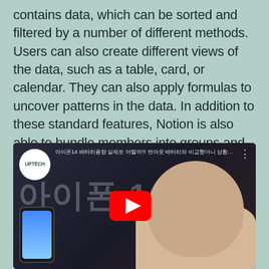contains data, which can be sorted and filtered by a number of different methods. Users can also create different views of the data, such as a table, card, or calendar. They can also apply formulas to uncover patterns in the data. In addition to these standard features, Notion is also able to bundle members into groups and share pages with them.
[Figure (screenshot): YouTube video thumbnail showing a Korean tech video about iPhone 14 by UPTECH channel with a person posing next to a phone graphic and Korean text 아이폰 14]